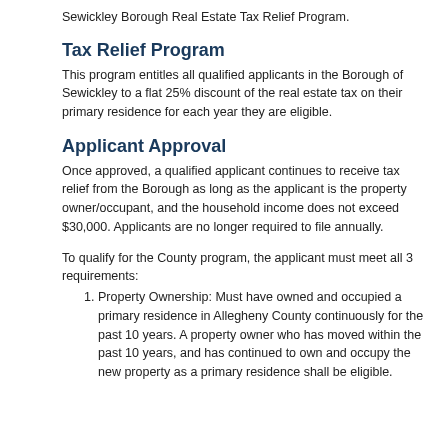Sewickley Borough Real Estate Tax Relief Program.
Tax Relief Program
This program entitles all qualified applicants in the Borough of Sewickley to a flat 25% discount of the real estate tax on their primary residence for each year they are eligible.
Applicant Approval
Once approved, a qualified applicant continues to receive tax relief from the Borough as long as the applicant is the property owner/occupant, and the household income does not exceed $30,000. Applicants are no longer required to file annually.
To qualify for the County program, the applicant must meet all 3 requirements:
Property Ownership: Must have owned and occupied a primary residence in Allegheny County continuously for the past 10 years. A property owner who has moved within the past 10 years, and has continued to own and occupy the new property as a primary residence shall be eligible.